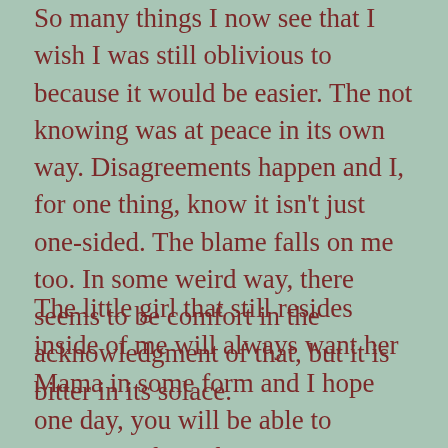So many things I now see that I wish I was still oblivious to because it would be easier. The not knowing was at peace in its own way. Disagreements happen and I, for one thing, know it isn't just one-sided. The blame falls on me too. In some weird way, there seems to be comfort in the acknowledgment of that, but it is bitter in its solace.
The little girl that still resides inside of me will always want her Mama in some form and I hope one day, you will be able to recognize that. I hope in some way, we are able to cherish those moments we had together, even if brief. As a whole, it was a brief time that I